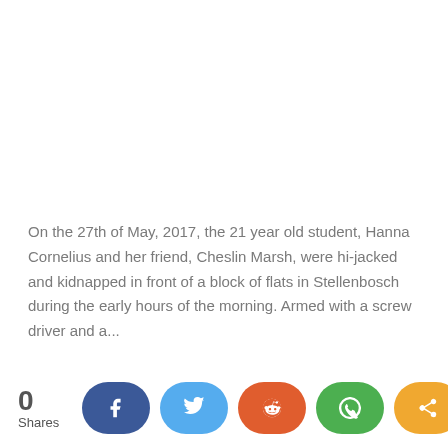On the 27th of May, 2017, the 21 year old student, Hanna Cornelius and her friend, Cheslin Marsh, were hi-jacked and kidnapped in front of a block of flats in Stellenbosch during the early hours of the morning. Armed with a screw driver and a...
0 Shares